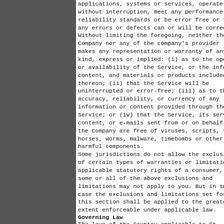applications, systems or services, operate without interruption, meet any performance or reliability standards or be error free or that any errors or defects can or will be corrected. Without limiting the foregoing, neither the Company nor any of the company's provider makes any representation or warranty of any kind, express or implied: (i) as to the operation or availability of the Service, or the information, content, and materials or products included thereon; (ii) that the Service will be uninterrupted or error-free; (iii) as to the accuracy, reliability, or currency of any information or content provided through the Service; or (iv) that the Service, its servers, the content, or e-mails sent from or on behalf of the Company are free of viruses, scripts, trojan horses, worms, malware, timebombs or other harmful components. Some jurisdictions do not allow the exclusion of certain types of warranties or limitations on applicable statutory rights of a consumer, so some or all of the above exclusions and limitations may not apply to you. But in such a case the exclusions and limitations set forth in this section shall be applied to the greatest extent enforceable under applicable law.
Governing Law
The laws of the Country applicable to St...